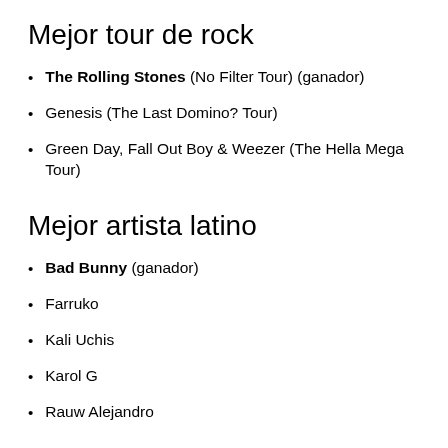Mejor tour de rock
The Rolling Stones (No Filter Tour) (ganador)
Genesis (The Last Domino? Tour)
Green Day, Fall Out Boy & Weezer (The Hella Mega Tour)
Mejor artista latino
Bad Bunny (ganador)
Farruko
Kali Uchis
Karol G
Rauw Alejandro